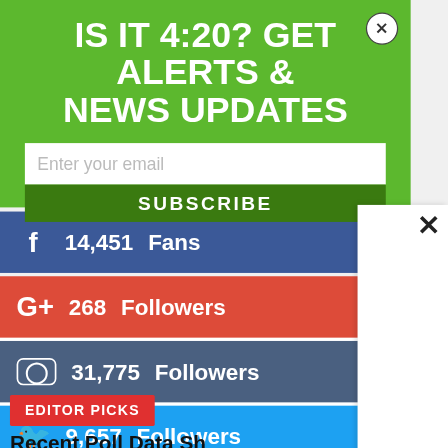IS IT 4:20? GET ALERTS & NEWS UPDATES
Enter your email
SUBSCRIBE
14,451  Fans
268  Followers
31,775  Followers
9,657  Followers
EDITOR PICKS
Recent Poll Data Sh